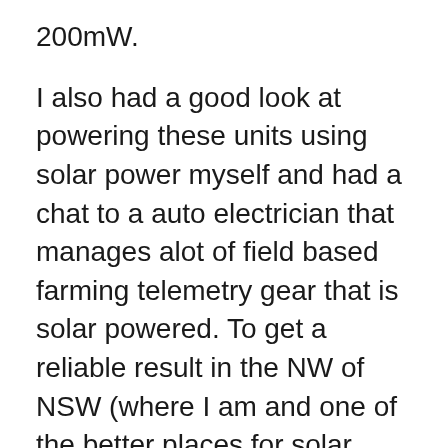200mW.
I also had a good look at powering these units using solar power myself and had a chat to a auto electrician that manages alot of field based farming telemetry gear that is solar powered. To get a reliable result in the NW of NSW (where I am and one of the better places for solar power) I would need a 20W 12V solar system (24V is apparently more efficient than 12V in solar – perhaps Meraki might take advantage of this with their solar systems and up the transmission power from 200mW at the same time).
The panel would cost around ($AUD) $180, regulator about $40, and a good qualify gel gel battery around $180-$220, and then a case to put